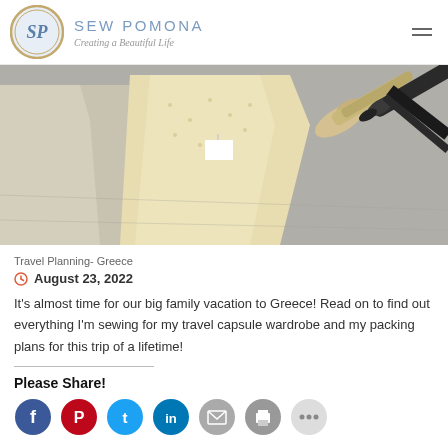SEW POMONA — Creating a Beautiful Life
[Figure (photo): Overhead photo of folded beige/cream fabrics and sewing scissors on a grey surface]
Travel Planning- Greece
August 23, 2022
It's almost time for our big family vacation to Greece! Read on to find out everything I'm sewing for my travel capsule wardrobe and my packing plans for this trip of a lifetime!
Please Share!